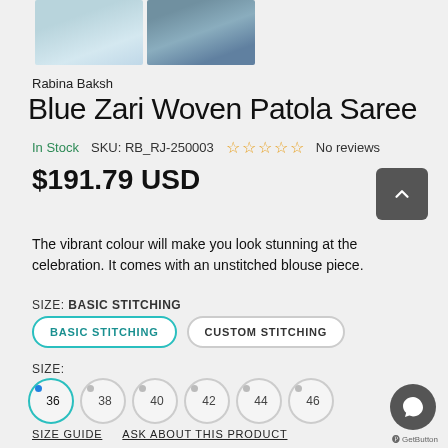[Figure (photo): Two thumbnail images of a blue saree/patola fabric]
Rabina Baksh
Blue Zari Woven Patola Saree
In Stock   SKU: RB_RJ-250003   ☆☆☆☆☆ No reviews
$191.79 USD
The vibrant colour will make you look stunning at the celebration. It comes with an unstitched blouse piece.
SIZE: BASIC STITCHING
BASIC STITCHING   CUSTOM STITCHING
SIZE:
•36   ○38   ○40   ○42   ○44   ○46
SIZE GUIDE   ASK ABOUT THIS PRODUCT